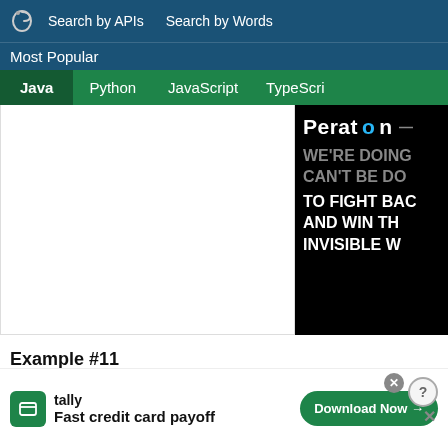Search by APIs   Search by Words
Most Popular
Java   Python   JavaScript   TypeScript
[Figure (screenshot): Peraton advertisement banner on black background with text: WE'RE DOING [WHAT] CAN'T BE DO[NE] TO FIGHT BA[CK] AND WIN TH[E] INVISIBLE W[AR]]
Example #11
Source Project: blue-marlin   Author: Futurewei-io   File: TestIMSCon...   License 2.0
[Figure (screenshot): Tally app advertisement: Fast credit card payoff, with Download Now button]